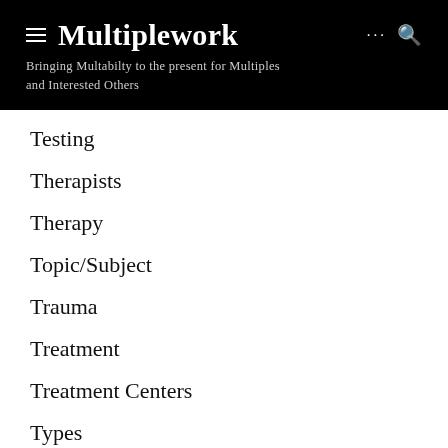Multiplework – Bringing Multabilty to the present for Multiples and Interested Others
Testing
Therapists
Therapy
Topic/Subject
Trauma
Treatment
Treatment Centers
Types